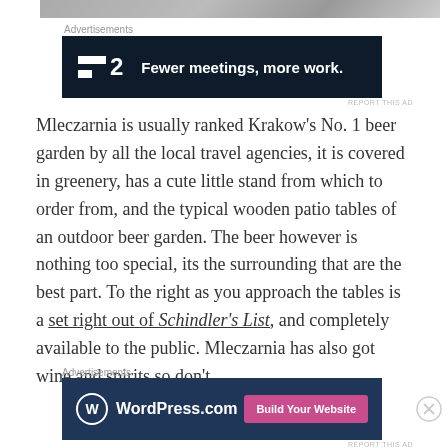[Figure (photo): Top portion of a photo showing a stone or paved surface, partially visible at top of page]
Advertisements
[Figure (screenshot): Advertisement banner with dark background reading: F2 Fewer meetings, more work.]
REPORT THIS AD
Mleczarnia is usually ranked Krakow’s No. 1 beer garden by all the local travel agencies, it is covered in greenery, has a cute little stand from which to order from, and the typical wooden patio tables of an outdoor beer garden. The beer however is nothing too special, its the surrounding that are the best part. To the right as you approach the tables is a set right out of Schindler’s List, and completely available to the public. Mleczarnia has also got wine and spirits so don’t
Advertisements
[Figure (screenshot): WordPress.com advertisement banner with Build Your Website button]